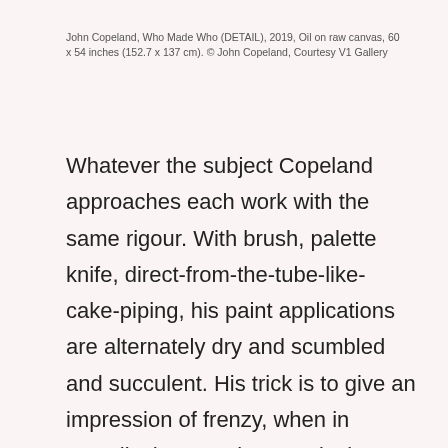John Copeland, Who Made Who (DETAIL), 2019, Oil on raw canvas, 60 x 54 inches (152.7 x 137 cm). © John Copeland, Courtesy V1 Gallery
Whatever the subject Copeland approaches each work with the same rigour. With brush, palette knife, direct-from-the-tube-like-cake-piping, his paint applications are alternately dry and scumbled and succulent. His trick is to give an impression of frenzy, when in actuality he exercises meticulous total control that really only masquerades as haphazard chaos. The expanses of raw canvas allow the viewer to share the artist's enjoyment in paint's tactility; linseed oil bleeds